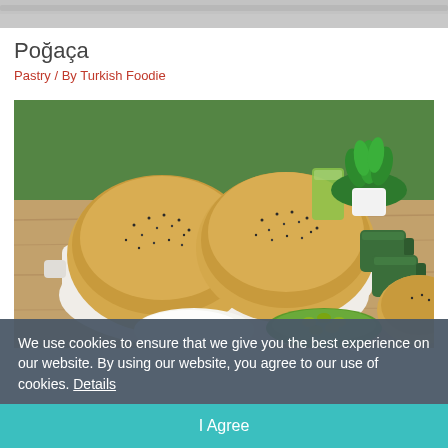[Figure (photo): Partial top photo, cropped, showing some food content from a previous image]
Poğaça
Pastry / By Turkish Foodie
[Figure (photo): Photo of Turkish Poğaça bread rolls topped with sesame and poppy seeds in a white baking dish, with green mugs, a green juice, a potted herb plant, and a plate of olives on a wooden table with grass in the background]
We use cookies to ensure that we give you the best experience on our website. By using our website, you agree to our use of cookies. Details
I Agree